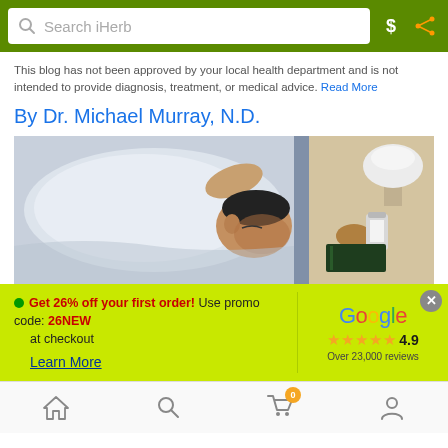Search iHerb
This blog has not been approved by your local health department and is not intended to provide diagnosis, treatment, or medical advice. Read More
By Dr. Michael Murray, N.D.
[Figure (photo): Overhead view of a person sleeping on a white pillow in a dark room, with a nightstand showing a lamp, supplement bottle, and book nearby]
Get 26% off your first order! Use promo code: 26NEW at checkout
Learn More
[Figure (other): Google logo with 4.9 stars rating and Over 23,000 reviews]
Home | Search | Cart (0) | Profile